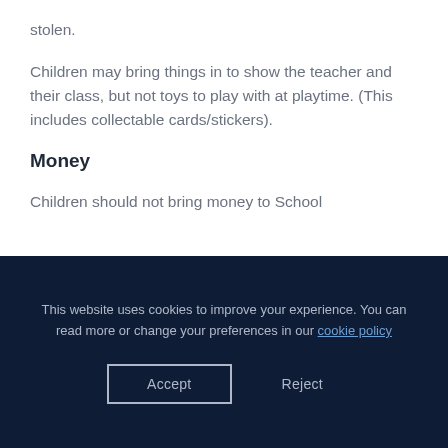stolen.
Children may bring things in to show the teacher and their class, but not toys to play with at playtime. (This includes collectable cards/stickers).
Money
Children should not bring money to School
This website uses cookies to improve your experience. You can read more or change your preferences in our cookie policy
Accept
Reject